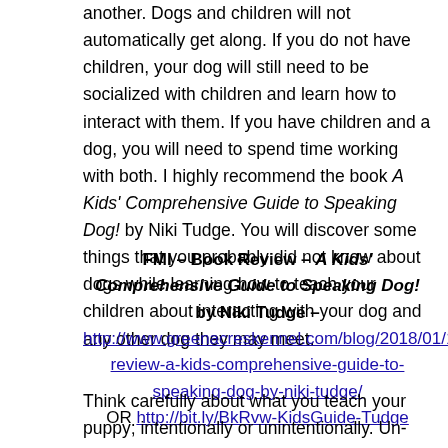another. Dogs and children will not automatically get along. If you do not have children, your dog will still need to be socialized with children and learn how to interact with them. If you have children and a dog, you will need to spend time working with both. I highly recommend the book A Kids' Comprehensive Guide to Speaking Dog! by Niki Tudge. You will discover some things that you probably did not know about dogs while learning how to teach your children about interacting with your dog and any other dog they may meet.
FMI – Book Review – A Kids' Comprehensive Guide to Speaking Dog! by Niki Tudge – http://www.greenacreskennel.com/blog/2018/01/10/book-review-a-kids-comprehensive-guide-to-speaking-dog-by-niki-tudge/ OR http://bit.ly/BkRvw-KidsGuide-Tudge
Think carefully about what you teach your puppy; intentionally or unintentionally. Un-training a behavior takes a whole lot more time and energy than training a behavior. A